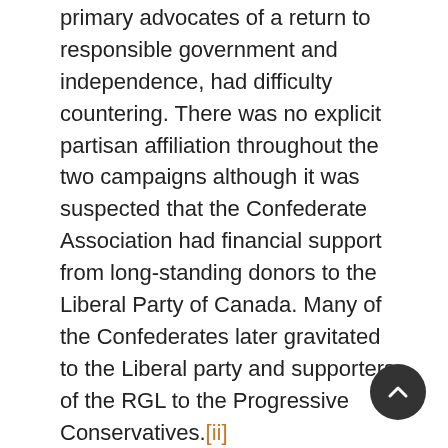primary advocates of a return to responsible government and independence, had difficulty countering. There was no explicit partisan affiliation throughout the two campaigns although it was suspected that the Confederate Association had financial support from long-standing donors to the Liberal Party of Canada. Many of the Confederates later gravitated to the Liberal party and supporters of the RGL to the Progressive Conservatives.[ii]
Although the date of the first referendum was announced only on 11 March 1948, voters in Newfoundland and Labrador had known since December 1945 that the referendum was coming. On 11 December 1945 British Prime Minister Clement Attlee, who had visited Newfoundland